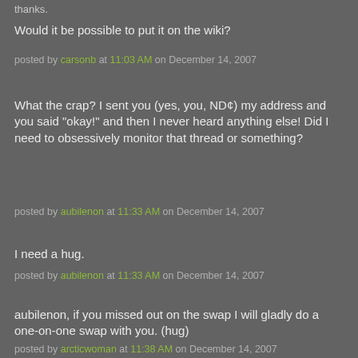thanks.
Would it be possible to put it on the wiki?
posted by carsonb at 11:03 AM on December 14, 2007
What the crap? I sent you (yes, you, ND¢) my address and you said "okay!" and then I never heard anything else! Did I need to obsessively monitor that thread or something?
posted by aubilenon at 11:33 AM on December 14, 2007
I need a hug.
posted by aubilenon at 11:33 AM on December 14, 2007
aubilenon, if you missed out on the swap I will gladly do a one-on-one swap with you. (hug)
posted by arcticwoman at 11:38 AM on December 14, 2007